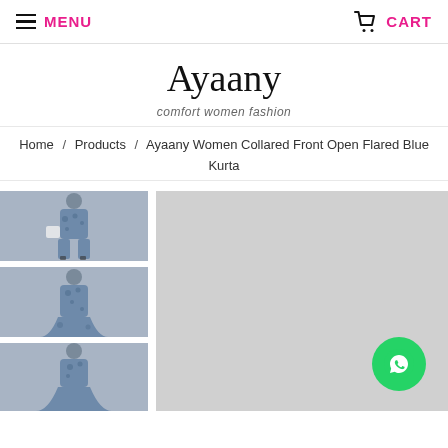MENU  CART
Ayaany
comfort women fashion
Home / Products / Ayaany Women Collared Front Open Flared Blue Kurta
[Figure (photo): Thumbnail 1: Woman wearing blue floral kurta, full length, holding bag]
[Figure (photo): Thumbnail 2: Woman wearing blue floral kurta, full length front view]
[Figure (photo): Thumbnail 3: Woman wearing blue floral kurta, partial view]
[Figure (photo): Main product image area - light gray placeholder for Ayaany Women Collared Front Open Flared Blue Kurta]